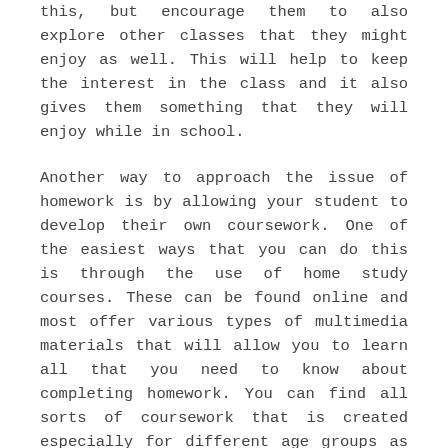this, but encourage them to also explore other classes that they might enjoy as well. This will help to keep the interest in the class and it also gives them something that they will enjoy while in school.
Another way to approach the issue of homework is by allowing your student to develop their own coursework. One of the easiest ways that you can do this is through the use of home study courses. These can be found online and most offer various types of multimedia materials that will allow you to learn all that you need to know about completing homework. You can find all sorts of coursework that is created especially for different age groups as well. There are even courses available for children who have special needs associated with their learning abilities.